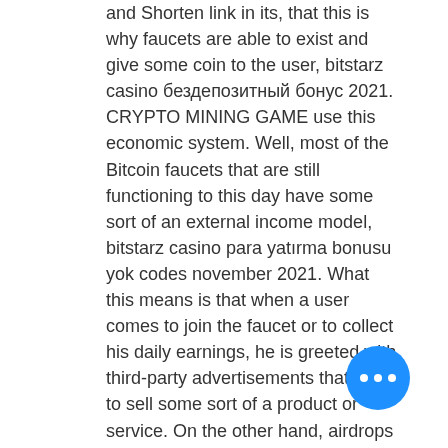and Shorten link in its, that this is why faucets are able to exist and give some coin to the user, bitstarz casino бездепозитный бонус 2021. CRYPTO MINING GAME use this economic system. Well, most of the Bitcoin faucets that are still functioning to this day have some sort of an external income model, bitstarz casino para yatırma bonusu yok codes november 2021. What this means is that when a user comes to join the faucet or to collect his daily earnings, he is greeted with third-party advertisements that aim to sell some sort of a product or service. On the other hand, airdrops are usually distributed by blockchain/crypto startups, and they represent a one-time reward for helping the company with promotion and community building. In most cases, these startups will distribute their own tokens, bitstarz casino promo code. In wortex we believe that cryptocurrencies are the future of the new money market, bitstarz casino žádný
[Figure (other): Blue circular FAB button with three horizontal dots (ellipsis) icon]